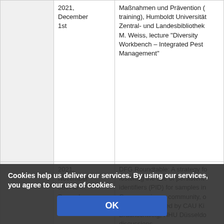|  | Date | Event/Description |
| --- | --- | --- |
|  | 2021, December 1st | Maßnahmen und Prävention (training), Humboldt Universität, Zentral- und Landesbibliothek; M. Weiss, lecture "Diversity Workbench – Integrated Pest Management" |
|  | 2021, November 30th to December 2nd | DFG Roundtable: A strategy for fostering the use of persistent identifiers (PID) for samples in German science community, online meeting organised by CAU Kiel, Braunschweig, HHU Düsseldorf, discussions |
|  | 2021, [November] 8th to 9th | 42. Diversity Workbench Workshop, DWB Training; Introduction … Database Suite with focus on … management of descriptive (tr… and identification keys (virtual workshop); SNSB IT Center i… Münche… |
Cookies help us deliver our services. By using our services, you agree to our use of cookies.